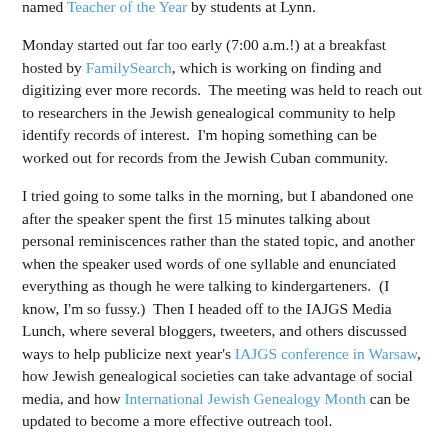named Teacher of the Year by students at Lynn.
Monday started out far too early (7:00 a.m.!) at a breakfast hosted by FamilySearch, which is working on finding and digitizing ever more records.  The meeting was held to reach out to researchers in the Jewish genealogical community to help identify records of interest.  I'm hoping something can be worked out for records from the Jewish Cuban community.
I tried going to some talks in the morning, but I abandoned one after the speaker spent the first 15 minutes talking about personal reminiscences rather than the stated topic, and another when the speaker used words of one syllable and enunciated everything as though he were talking to kindergarteners.  (I know, I'm so fussy.)  Then I headed off to the IAJGS Media Lunch, where several bloggers, tweeters, and others discussed ways to help publicize next year's IAJGS conference in Warsaw, how Jewish genealogical societies can take advantage of social media, and how International Jewish Genealogy Month can be updated to become a more effective outreach tool.